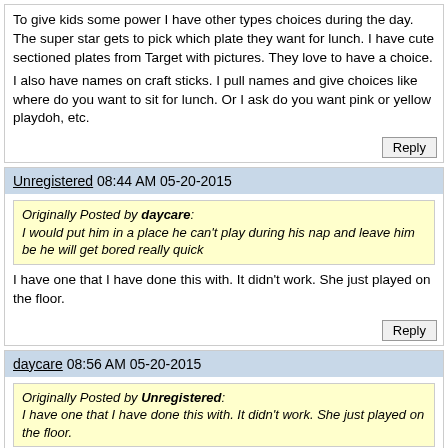To give kids some power I have other types choices during the day. The super star gets to pick which plate they want for lunch. I have cute sectioned plates from Target with pictures. They love to have a choice.

I also have names on craft sticks. I pull names and give choices like where do you want to sit for lunch. Or I ask do you want pink or yellow playdoh, etc.
Unregistered 08:44 AM 05-20-2015
Originally Posted by daycare: I would put him in a place he can't play during his nap and leave him be he will get bored really quick
I have one that I have done this with. It didn't work. She just played on the floor.
daycare 08:56 AM 05-20-2015
Originally Posted by Unregistered: I have one that I have done this with. It didn't work. She just played on the floor.
I would just leave her be. It's her choice. Trust me when i tell you that after doing that a few times and hearing all of her friends have a GREAT over the top fantastic time, she will be begging to get off of nap time.....

You have to do it more than once for it to work for some kids.